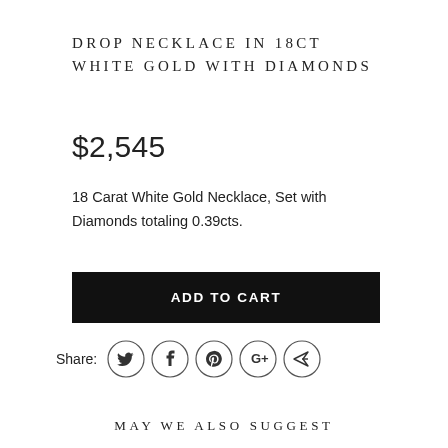DROP NECKLACE IN 18CT WHITE GOLD WITH DIAMONDS
$2,545
18 Carat White Gold Necklace, Set with Diamonds totaling 0.39cts.
ADD TO CART
Share:
MAY WE ALSO SUGGEST